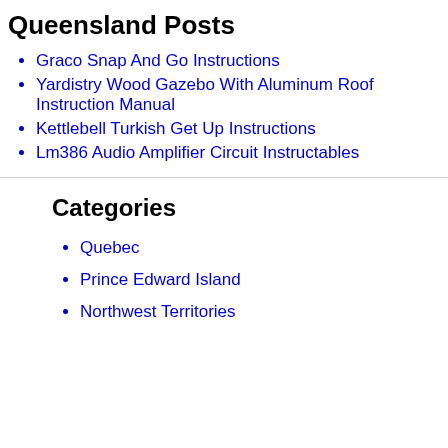Queensland Posts
Graco Snap And Go Instructions
Yardistry Wood Gazebo With Aluminum Roof Instruction Manual
Kettlebell Turkish Get Up Instructions
Lm386 Audio Amplifier Circuit Instructables
Categories
Quebec
Prince Edward Island
Northwest Territories